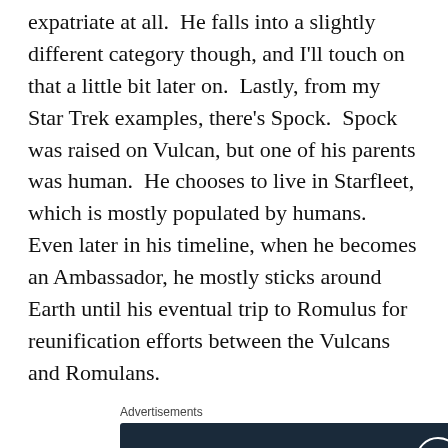expatriate at all.  He falls into a slightly different category though, and I'll touch on that a little bit later on.  Lastly, from my Star Trek examples, there's Spock.  Spock was raised on Vulcan, but one of his parents was human.  He chooses to live in Starfleet, which is mostly populated by humans.  Even later in his timeline, when he becomes an Ambassador, he mostly sticks around Earth until his eventual trip to Romulus for reunification efforts between the Vulcans and Romulans.
Advertisements
[Figure (other): WordPress advertisement banner with dark navy background, WordPress logo (W in circle) top right, and text 'Opinions. We all have them!' in white serif font.]